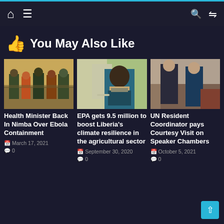Navigation bar with home, menu, search, and shuffle icons
👍 You May Also Like
[Figure (photo): Group of people outdoors wearing masks and military/civilian clothing]
Health Minister Back In Nimba Over Ebola Containment
March 17, 2021  0
[Figure (photo): Man in teal suit sitting at desk with laptop]
EPA gets 9.5 million to boost Liberia's climate resilience in the agricultural sector
September 30, 2020  0
[Figure (photo): Two men in suits standing indoors]
UN Resident Coordinator pays Courtesy Visit on Speaker Chambers
October 5, 2021  0